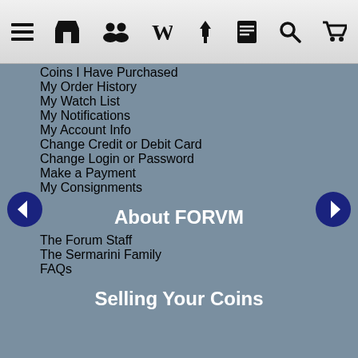[Figure (screenshot): Website toolbar with hamburger menu icon, store icon, people/community icon, Wikipedia W icon, bookmark/pencil icon, document icon, search icon, and shopping cart icon on a gray gradient background.]
Coins I Have Purchased
My Order History
My Watch List
My Notifications
My Account Info
Change Credit or Debit Card
Change Login or Password
Make a Payment
My Consignments
About FORVM
The Forum Staff
The Sermarini Family
FAQs
Selling Your Coins